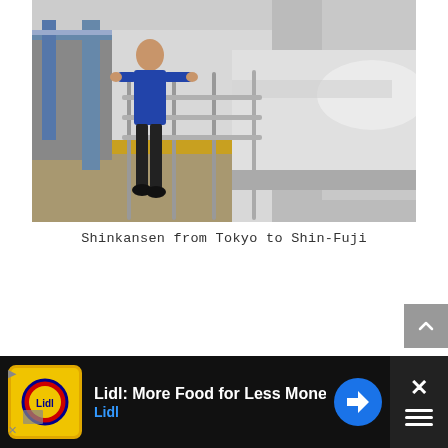[Figure (photo): A boy standing on a train platform next to a Shinkansen (bullet train) in Japan. The train is white and silver with an aerodynamic nose. There is a metal railing between the boy and the train. The platform has yellow tactile paving strips. Station buildings and pillars are visible in the background.]
Shinkansen from Tokyo to Shin-Fuji
[Figure (other): Advertisement banner for Lidl supermarket: 'Lidl: More Food for Less Money' with Lidl logo and blue navigation arrow icon. Dark background. Partially visible close button on right.]